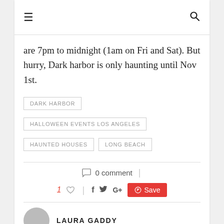≡  🔍
are 7pm to midnight (1am on Fri and Sat). But hurry, Dark harbor is only haunting until Nov 1st.
DARK HARBOR
HALLOWEEN EVENTS LOS ANGELES
HAUNTED HOUSES
LONG BEACH
0 comment
1 ♡  |  f  🐦  G+  Save
LAURA GADDY